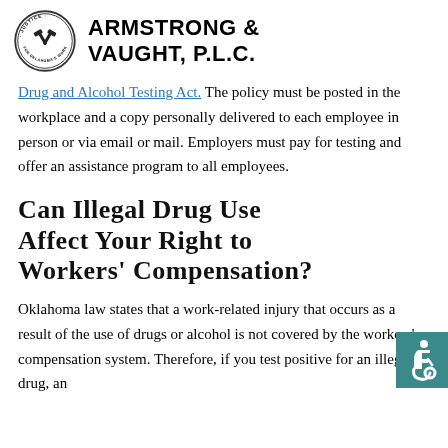Armstrong & Vaught, P.L.C.
Drug and Alcohol Testing Act. The policy must be posted in the workplace and a copy personally delivered to each employee in person or via email or mail. Employers must pay for testing and offer an assistance program to all employees.
Can Illegal Drug Use Affect Your Right to Workers' Compensation?
Oklahoma law states that a work-related injury that occurs as a result of the use of drugs or alcohol is not covered by the workers' compensation system. Therefore, if you test positive for an illegal drug, an